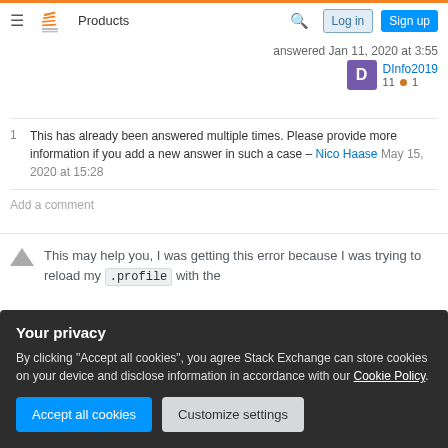≡  Products  🔍  Log in  Sign up
answered Jan 11, 2020 at 3:55
DInfo2019  11 ● 1
1  This has already been answered multiple times. Please provide more information if you add a new answer in such a case – Nico Haase  May 15, 2020 at 15:28
Add a comment
This may help you, I was getting this error because I was trying to reload my .profile with the
Your privacy
By clicking "Accept all cookies", you agree Stack Exchange can store cookies on your device and disclose information in accordance with our Cookie Policy.
Accept all cookies  Customize settings